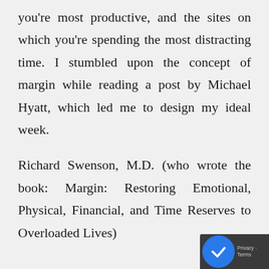you're most productive, and the sites on which you're spending the most distracting time. I stumbled upon the concept of margin while reading a post by Michael Hyatt, which led me to design my ideal week.
Richard Swenson, M.D. (who wrote the book: Margin: Restoring Emotional, Physical, Financial, and Time Reserves to Overloaded Lives)